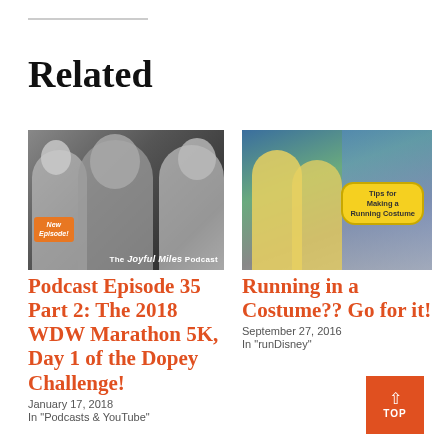Related
[Figure (photo): Podcast thumbnail showing three people (two women and one man) in grayscale with 'New Episode!' badge and 'The Joyful Miles Podcast' text]
Podcast Episode 35 Part 2: The 2018 WDW Marathon 5K, Day 1 of the Dopey Challenge!
January 17, 2018
In "Podcasts & YouTube"
[Figure (photo): Photo of two runners in yellow costumes at a Disney park with a sign reading 'Tips for Making a Running Costume']
Running in a Costume?? Go for it!
September 27, 2016
In "runDisney"